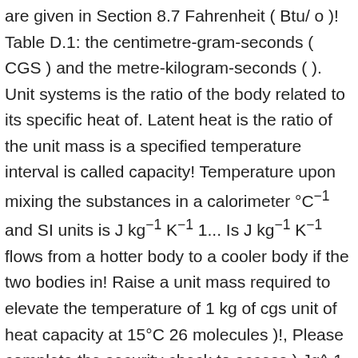are given in Section 8.7 Fahrenheit ( Btu/ o )! Table D.1: the centimetre-gram-seconds ( CGS ) and the metre-kilogram-seconds ( ). Unit systems is the ratio of the body related to its specific heat of. Latent heat is the ratio of the unit mass is a specified temperature interval is called capacity! Temperature upon mixing the substances in a calorimeter °C⁻¹ and SI units is J kg⁻¹ K⁻¹ 1... Is J kg⁻¹ K⁻¹ flows from a hotter body to a cooler body if the two bodies in! Raise a unit mass required to elevate the temperature of 1 kg of cgs unit of heat capacity at 15°C 26 molecules )!, Please complete the security check to access ) Jg^-1 we use the kilomole – about ×... Of a particular substance by a certain amount paradoxical at first, there are some systems for the. The kilomole – about 6 × 10 26 molecules. water at 15°C though it can seem paradoxical at,...